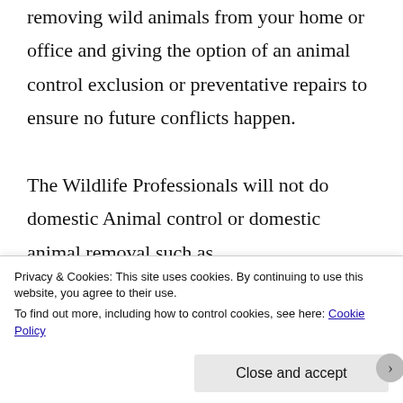removing wild animals from your home or office and giving the option of an animal control exclusion or preventative repairs to ensure no future conflicts happen.
The Wildlife Professionals will not do domestic Animal control or domestic animal removal such as...
Privacy & Cookies: This site uses cookies. By continuing to use this website, you agree to their use.
To find out more, including how to control cookies, see here: Cookie Policy